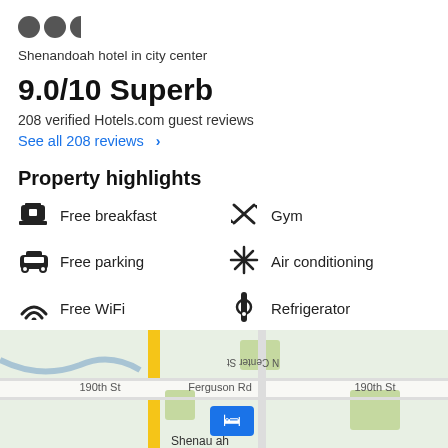[Figure (other): Three star rating circles (two full, one half)]
Shenandoah hotel in city center
9.0/10 Superb
208 verified Hotels.com guest reviews
See all 208 reviews  >
Property highlights
Free breakfast
Gym
Free parking
Air conditioning
Free WiFi
Refrigerator
See all  >
[Figure (map): Google Maps style map showing Shenandoah hotel location near 190th St and Ferguson Rd, with N Center St visible]